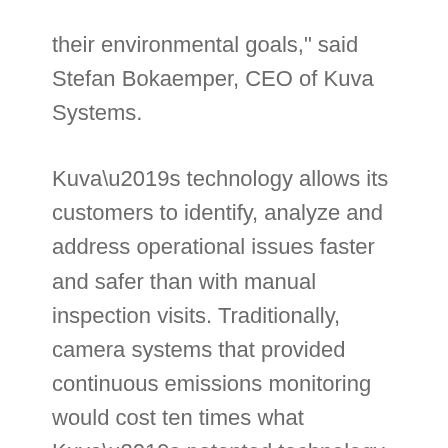their environmental goals," said Stefan Bokaemper, CEO of Kuva Systems.
Kuva’s technology allows its customers to identify, analyze and address operational issues faster and safer than with manual inspection visits. Traditionally, camera systems that provided continuous emissions monitoring would cost ten times what Kuva’s patented technology is offering customers.
Marathon Oil